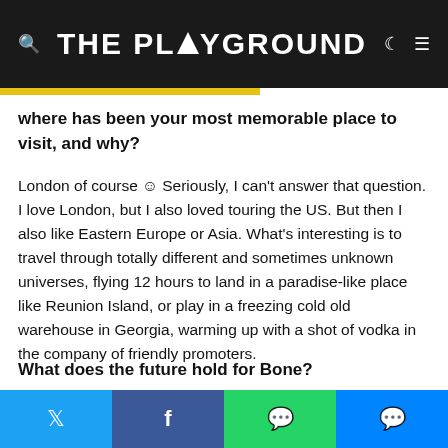THE PLAYGROUND
where has been your most memorable place to visit, and why?
London of course ☺ Seriously, I can't answer that question. I love London, but I also loved touring the US. But then I also like Eastern Europe or Asia. What's interesting is to travel through totally different and sometimes unknown universes, flying 12 hours to land in a paradise-like place like Reunion Island, or play in a freezing cold old warehouse in Georgia, warming up with a shot of vodka in the company of friendly promoters.
What does the future hold for Bone?